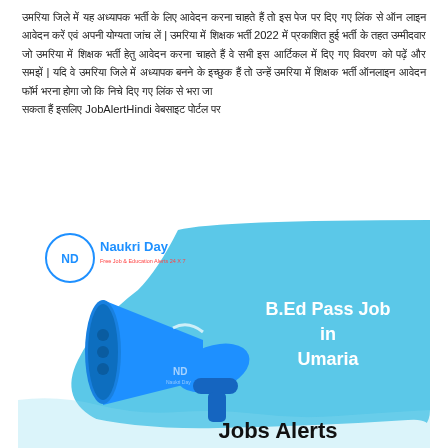Hindi text paragraph about B.Ed Pass Job in Umaria 2022 recruitment notification with details about application and eligibility.
[Figure (illustration): Naukri Day branded illustration showing a blue megaphone/loudspeaker with 'B.Ed Pass Job in Umaria' text on a light blue speech bubble background, with 'Jobs Alerts' text at the bottom. The Naukri Day logo appears in the top left corner.]